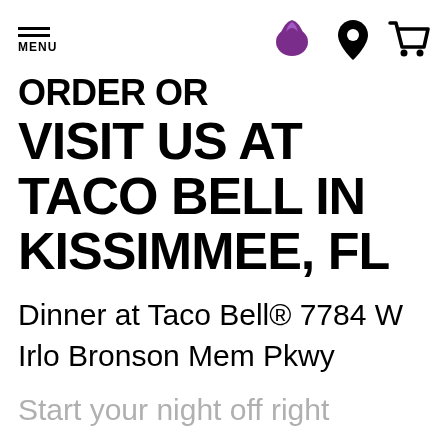MENU
VISIT US AT TACO BELL IN KISSIMMEE, FL
Dinner at Taco Bell® 7784 W Irlo Bronson Mem Pkwy
Start your night off right